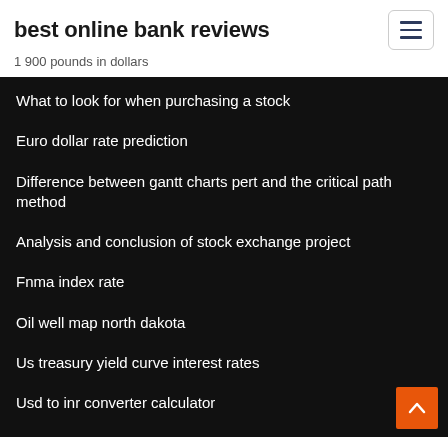best online bank reviews
1 900 pounds in dollars
What to look for when purchasing a stock
Euro dollar rate prediction
Difference between gantt charts pert and the critical path method
Analysis and conclusion of stock exchange project
Fnma index rate
Oil well map north dakota
Us treasury yield curve interest rates
Usd to inr converter calculator
Day trader salary melbourne
Pricing interest rate futures options with futures-style margining